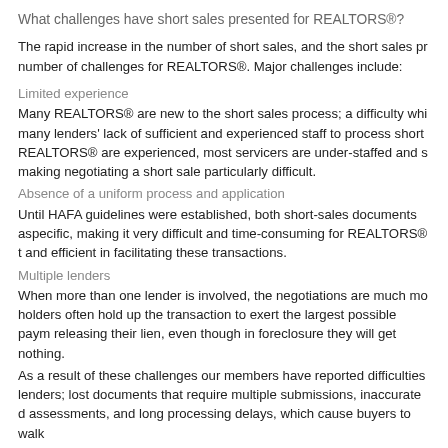What challenges have short sales presented for REALTORS®?
The rapid increase in the number of short sales, and the short sales process, have created a number of challenges for REALTORS®. Major challenges include:
Limited experience
Many REALTORS® are new to the short sales process; a difficulty which is compounded by many lenders' lack of sufficient and experienced staff to process short sales. Even when REALTORS® are experienced, most servicers are under-staffed and slow to respond, making negotiating a short sale particularly difficult.
Absence of a uniform process and application
Until HAFA guidelines were established, both short-sales documents and processes were lender-specific, making it very difficult and time-consuming for REALTORS® to become proficient and efficient in facilitating these transactions.
Multiple lenders
When more than one lender is involved, the negotiations are much more complex. Second lien holders often hold up the transaction to exert the largest possible payment prior to releasing their lien, even though in foreclosure they will get nothing.
As a result of these challenges our members have reported difficulties communicating with lenders; lost documents that require multiple submissions, inaccurate or disputed property assessments, and long processing delays, which cause buyers to walk away.
What is being done to address or eliminate these challenges?